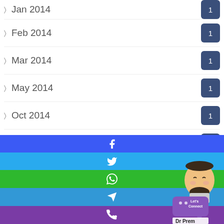Jan 2014 — 1
Feb 2014 — 1
Mar 2014 — 1
May 2014 — 1
Oct 2014 — 1
Uncategorized — 3
Youtube — 3
2013 — 3
[Figure (infographic): Social share bar with Facebook, Twitter, WhatsApp, Telegram, Phone icons, and a Dr Prem chatbot widget in the bottom-right corner]